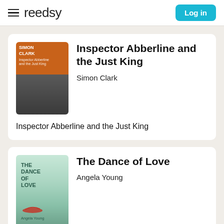reedsy | Log in
Inspector Abberline and the Just King
Simon Clark
Inspector Abberline and the Just King
The Dance of Love
Angela Young
The Dance of Love is a coming-of-age tale that spans more than two decades of vast change. Against a backdrop of high Edwardian luxury